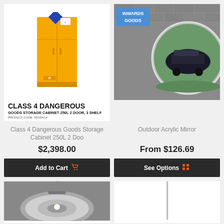[Figure (photo): Yellow Class 4 dangerous goods storage cabinet with blue diamond hazard label, 2 door 3 shelf, with product label overlay showing CLASS 4 DANGEROUS GOODS STORAGE CABINET 250L 2 DOOR, 3 SHELF, PRODUCT CODE: 55GSAC4]
[Figure (photo): Outdoor acrylic safety mirror mounted on brick wall near Inwards Goods sign, showing reflection of parked SUV]
Class 4 Dangerous Goods Storage Cabinet 250L 2 Doo
Outdoor Acrylic Mirror
$2,398.00
From $126.69
Add to Cart
See Options
[Figure (photo): Ceiling-mounted dome security mirror viewed from below, light visible]
[Figure (photo): Tall thin stand or pole product on white background, partially visible]